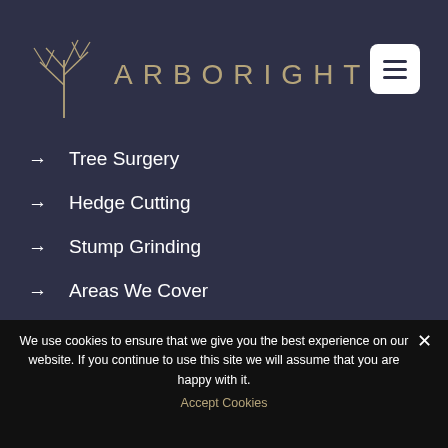[Figure (logo): ArboRight logo: stylized tree/branch icon in tan/gold color with text ARBORIGHT in spaced capital letters]
→ Tree Surgery
→ Hedge Cutting
→ Stump Grinding
→ Areas We Cover
→ Testimonials
We use cookies to ensure that we give you the best experience on our website. If you continue to use this site we will assume that you are happy with it.
Accept Cookies